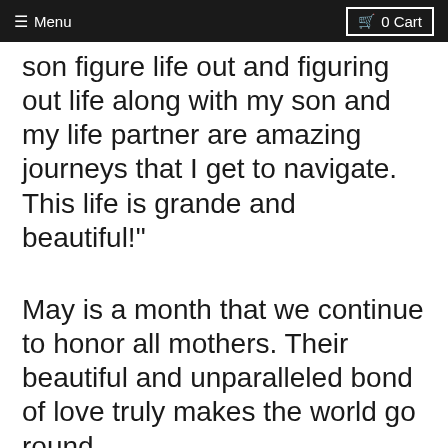≡ Menu   🛒 0 Cart
son figure life out and figuring out life along with my son and my life partner are amazing journeys that I get to navigate. This life is grande and beautiful!"
May is a month that we continue to honor all mothers. Their beautiful and unparalleled bond of love truly makes the world go round.
If you would like to be featured in Maja